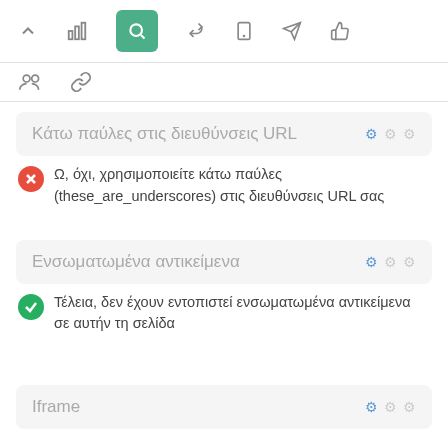[Figure (screenshot): Top navigation toolbar with icons: chevron up, bar chart, search (active/green), pointer, mobile, send, thumbs up]
[Figure (screenshot): Second toolbar row with people group icon and chain link icon]
Κάτω παύλες στις διευθύνσεις URL
Ω, όχι, χρησιμοποιείτε κάτω παύλες (these_are_underscores) στις διευθύνσεις URL σας
Ενσωματωμένα αντικείμενα
Τέλεια, δεν έχουν εντοπιστεί ενσωματωμένα αντικείμενα σε αυτήν τη σελίδα
Iframe